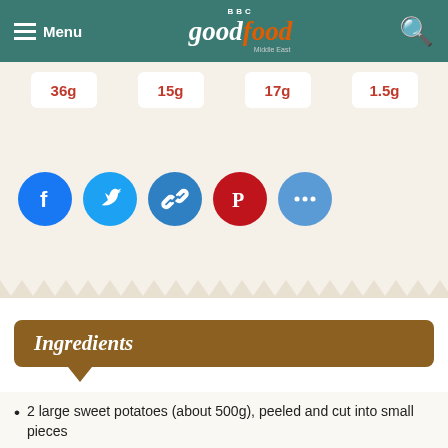BBC Good Food Middle East
36g | 15g | 17g | 1.5g
[Figure (infographic): Social sharing buttons: Facebook (blue), Twitter (light blue), Link/copy (blue), Pinterest (red), More (blue)]
Ingredients
2 large sweet potatoes (about 500g), peeled and cut into small pieces
1 tbsp vegetable oil, plus extra for brushing
2 red onions, 1 chopped, 1 halved and finely sliced